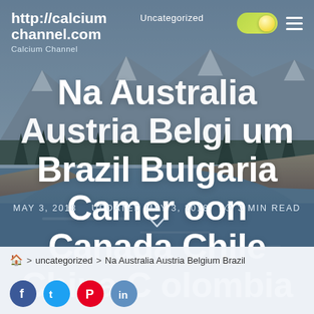[Figure (photo): Mountain river landscape with snow-capped peaks, conifer trees, and a wide glacial river valley under an overcast sky.]
http://calciumchannel.com  Calcium Channel  Uncategorized
Na Australia Austria Belgium Brazil Bulgaria Cameroon Canada Chile China Colombia
MAY 3, 2018   UPDATED MAY 3, 2018   3 MIN READ
🏠 > uncategorized > Na Australia Austria Belgium Brazil
(social share icons row)